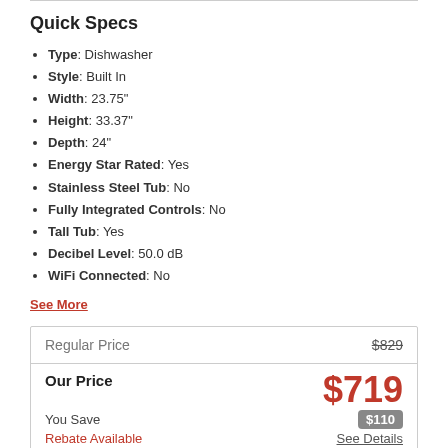Quick Specs
Type: Dishwasher
Style: Built In
Width: 23.75"
Height: 33.37"
Depth: 24"
Energy Star Rated: Yes
Stainless Steel Tub: No
Fully Integrated Controls: No
Tall Tub: Yes
Decibel Level: 50.0 dB
WiFi Connected: No
See More
|  |  |
| --- | --- |
| Regular Price | $829 |
| Our Price | $719 |
| You Save | $110 |
| Rebate Available | See Details |